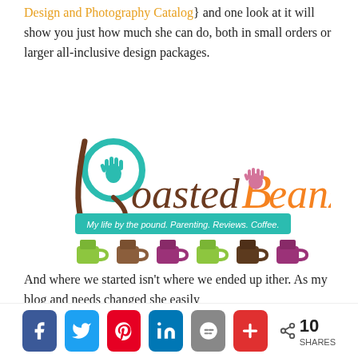Design and Photography Catalog} and one look at it will show you just how much she can do, both in small orders or larger all-inclusive design packages.
[Figure (logo): Roasted Beanz blog logo — colorful hand-lettered text reading 'RoastedBeanz' with teal handprint on R, pink handprint on B, subtitle banner 'My life by the pound. Parenting. Reviews. Coffee.' and colorful coffee mugs below.]
And where we started isn't where we ended up ither. As my blog and needs changed she easily